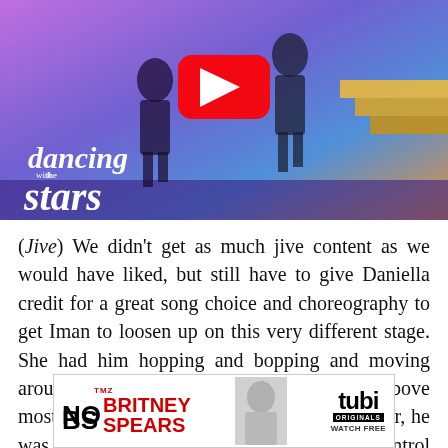[Figure (screenshot): Dancing with the Stars YouTube video thumbnail showing two performers on a colorful stage with the DWTS logo in the bottom left and a YouTube play button in the center]
(Jive) We didn't get as much jive content as we would have liked, but still have to give Daniella credit for a great song choice and choreography to get Iman to loosen up on this very different stage. She had him hopping and bopping and moving around in a way that already puts him well above most prior NBA stars on this show. Even better, he was light on his feet, though a little out of control and re... there, but he definitely needs to tighten up the form and work on controlling his feet. He's also dancing a
[Figure (other): TMZ No BS Britney Spears advertisement banner with Tubi Originals Watch Free on the right side]